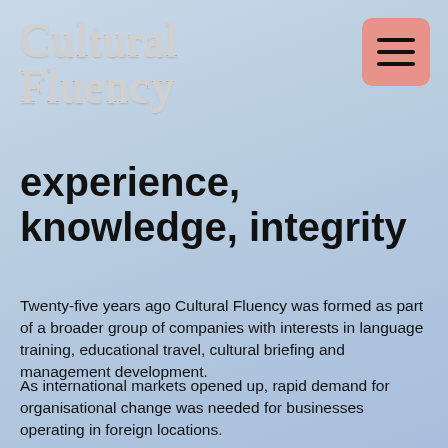Cultural Fluency
experience, knowledge, integrity
Twenty-five years ago Cultural Fluency was formed as part of a broader group of companies with interests in language training, educational travel, cultural briefing and management development.
As international markets opened up, rapid demand for organisational change was needed for businesses operating in foreign locations.